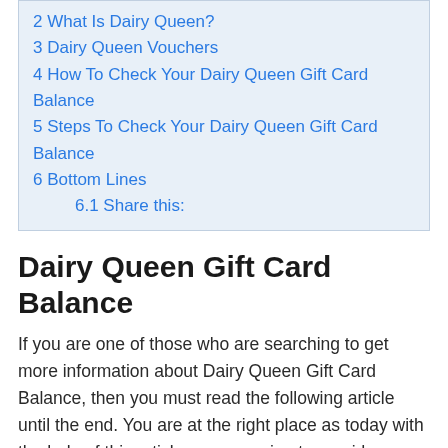2 What Is Dairy Queen?
3 Dairy Queen Vouchers
4 How To Check Your Dairy Queen Gift Card Balance
5 Steps To Check Your Dairy Queen Gift Card Balance
6 Bottom Lines
6.1 Share this:
Dairy Queen Gift Card Balance
If you are one of those who are searching to get more information about Dairy Queen Gift Card Balance, then you must read the following article until the end. You are at the right place as today with the help of this article, we are going to provide you with major details regarding Dairy Queen Gift Card and how to check your